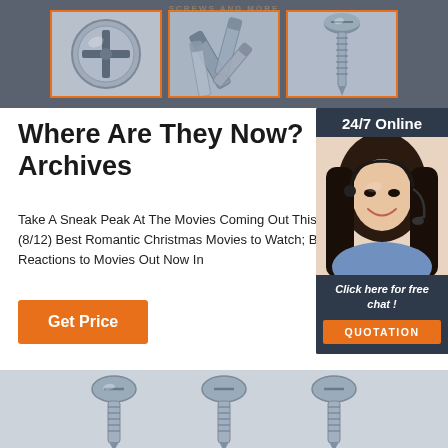[Figure (photo): Header banner with three orange-bordered boxes showing screws/fasteners on grey background]
Where Are They Now? Archives
Take A Sneak Peak At The Movies Coming Out This Week (8/12) Best Romantic Christmas Movies to Watch; Best Reactions to Movies Out Now In
Get Price
[Figure (photo): 24/7 Online widget with woman wearing headset and 'Click here for free chat!' text and QUOTATION button]
[Figure (photo): Bottom strip showing screws/fasteners on light background]